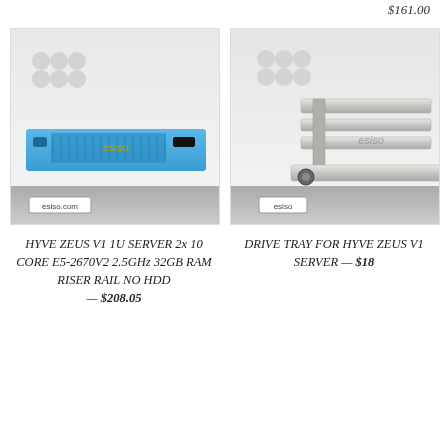$161.00
[Figure (photo): HYVE ZEUS V1 1U server in blue 1U rack form factor with esiso logo watermark]
[Figure (photo): Drive tray bracket for HYVE ZEUS V1 server, metallic silver bracket with esiso logo watermark]
HYVE ZEUS V1 1U SERVER 2x 10 CORE E5-2670V2 2.5GHz 32GB RAM RISER RAIL NO HDD — $208.05
DRIVE TRAY FOR HYVE ZEUS V1 SERVER — $18